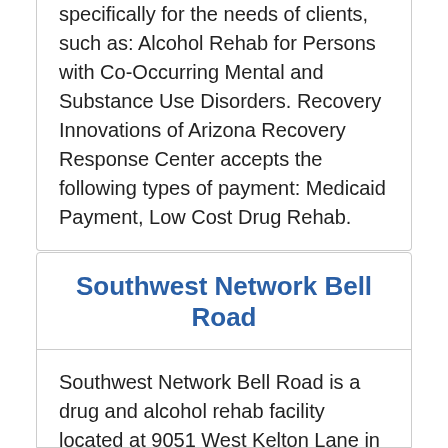specifically for the needs of clients, such as: Alcohol Rehab for Persons with Co-Occurring Mental and Substance Use Disorders. Recovery Innovations of Arizona Recovery Response Center accepts the following types of payment: Medicaid Payment, Low Cost Drug Rehab.
Southwest Network Bell Road
Southwest Network Bell Road is a drug and alcohol rehab facility located at 9051 West Kelton Lane in Peoria, Arizona.
The center uses main treatment approaches